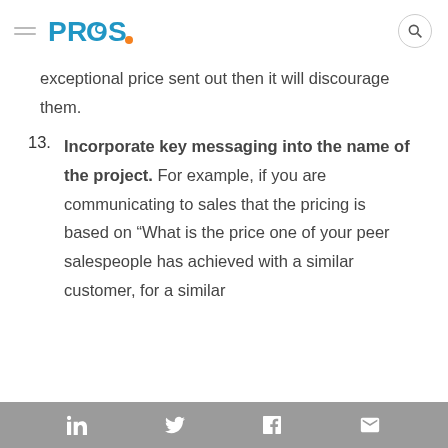PROS. [logo with hamburger menu and search]
exceptional price sent out then it will discourage them.
13. Incorporate key messaging into the name of the project. For example, if you are communicating to sales that the pricing is based on “What is the price one of your peer salespeople has achieved with a similar customer, for a similar
LinkedIn  Twitter  Facebook  Email